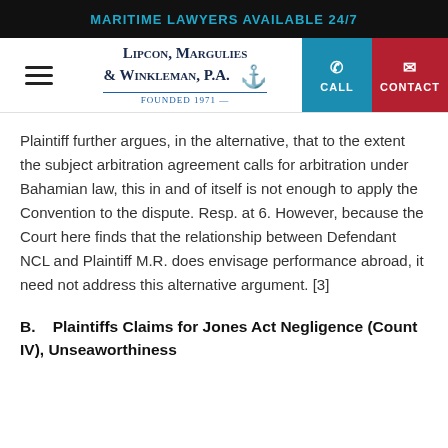MARITIME LAWYERS AVAILABLE 24/7
[Figure (logo): Lipcon, Margulies & Winkleman, P.A. Founded 1971 logo with anchor, plus CALL and CONTACT buttons]
Plaintiff further argues, in the alternative, that to the extent the subject arbitration agreement calls for arbitration under Bahamian law, this in and of itself is not enough to apply the Convention to the dispute. Resp. at 6. However, because the Court here finds that the relationship between Defendant NCL and Plaintiff M.R. does envisage performance abroad, it need not address this alternative argument. [3]
B.    Plaintiffs Claims for Jones Act Negligence (Count IV), Unseaworthiness